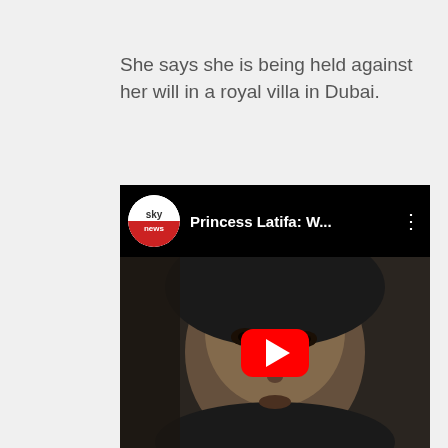She says she is being held against her will in a royal villa in Dubai.
[Figure (screenshot): YouTube video thumbnail showing Sky News video titled 'Princess Latifa: W...' with a close-up of a woman's face wearing a headscarf, and a red YouTube play button overlay.]